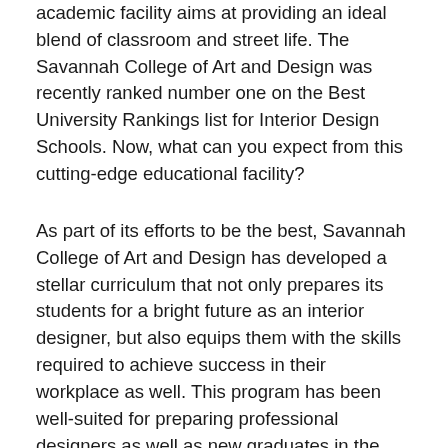academic facility aims at providing an ideal blend of classroom and street life. The Savannah College of Art and Design was recently ranked number one on the Best University Rankings list for Interior Design Schools. Now, what can you expect from this cutting-edge educational facility?
As part of its efforts to be the best, Savannah College of Art and Design has developed a stellar curriculum that not only prepares its students for a bright future as an interior designer, but also equips them with the skills required to achieve success in their workplace as well. This program has been well-suited for preparing professional designers as well as new graduates in the field. In fact, this interior architecture and design program has consistently ranked well in national and state competitions. With its accomplished faculty, inclusive community and challenging curriculum, the Art and Design program has been a top choice for many returning students looking to improve their design skill set. Now it is time to prove your versatility and